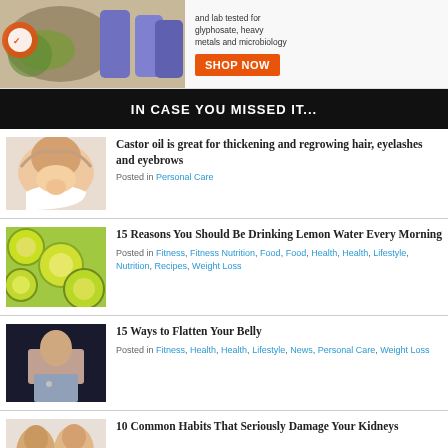[Figure (photo): Advertisement banner: essential oil bottles with herbs, certificate badges, orange SHOP NOW button, text 'and lab tested for glyphosate, heavy metals and microbiology']
IN CASE YOU MISSED IT...
[Figure (photo): Woman washing her hair, smiling, white background]
Castor oil is great for thickening and regrowing hair, eyelashes and eyebrows
Posted in Personal Care
[Figure (photo): Sliced lemon and lime fruits, green and yellow colors]
15 Reasons You Should Be Drinking Lemon Water Every Morning
Posted in Fitness, Fitness Nutrition, Food, Food, Health, Health, Lifestyle, Nutrition, Recipes, Weight Loss
[Figure (photo): Woman showing flat belly with belly button piercing, wearing gray pants]
15 Ways to Flatten Your Belly
Posted in Fitness, Health, Health, Lifestyle, News, Personal Care, Weight Loss
[Figure (photo): Two men, one looking concerned, health article illustration]
10 Common Habits That Seriously Damage Your Kidneys